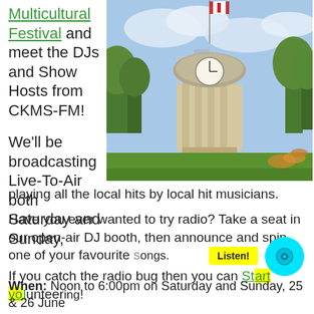Multicultural Festival and meet the DJs and Show Hosts from CKMS-FM!
[Figure (photo): Photo of a stone clock tower with columns in a park with green grass and trees, Canadian flag visible at top.]
We'll be broadcasting Live-To-Air both Saturday and Sunday, playing all the local hits by local hit musicians.
Have you ever wanted to try radio? Take a seat in our open-air DJ booth, then announce and spin one of your favourite songs. If you catch the radio bug then you can Start volunteering!
When: Noon to 6:00pm on Saturday and Sunday, 25 & 26 June